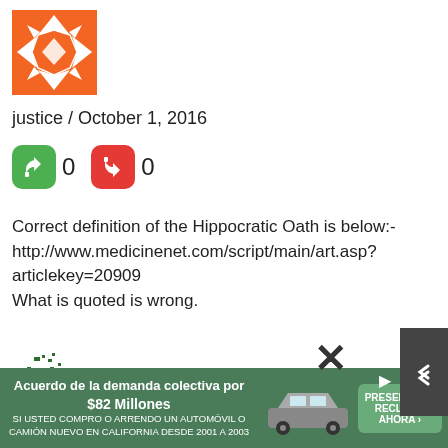[Figure (logo): Orange geometric star/diamond pattern avatar icon]
justice / October 1, 2016
[Figure (infographic): Green thumbs-up button with count 0, red thumbs-down button with count 0]
Correct definition of the Hippocratic Oath is below:-
http://www.medicinenet.com/script/main/art.asp?articlekey=20909
What is quoted is wrong.
[Figure (logo): Small green geometric pattern avatar icon]
[Figure (infographic): Advertisement banner: Acuerdo de la demanda colectiva por $82 Millones - SI USTED COMPRO O ARRENDO UN AUTOMOVIL O CAMION NUEVO EN CALIFORNIA DESDE 2001 A 2003]